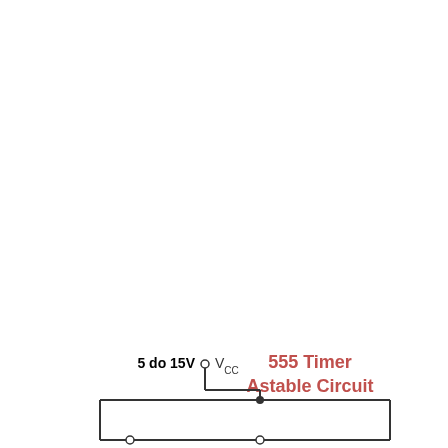[Figure (circuit-diagram): Partial 555 Timer Astable Circuit diagram showing the top portion. A VCC supply node labeled '5 do 15V' with a small open circle connector and VCC label (with CC subscript). A vertical wire runs down from VCC to a filled junction dot, then splits into two horizontal wires going left and right forming the top of the circuit. The title '555 Timer Astable Circuit' appears in red/pink text in the upper right of the diagram area.]